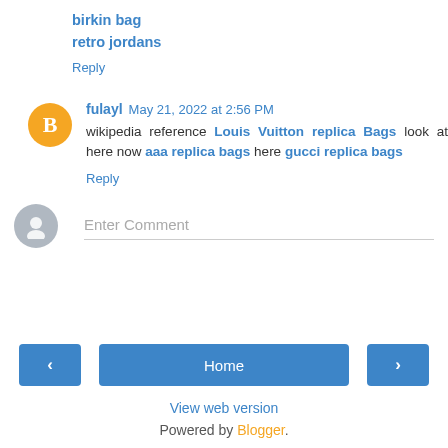birkin bag
retro jordans
Reply
fulayl May 21, 2022 at 2:56 PM
wikipedia reference Louis Vuitton replica Bags look at here now aaa replica bags here gucci replica bags
Reply
[Figure (other): Enter Comment input field with gray user avatar]
[Figure (other): Navigation bar with left arrow, Home button, right arrow]
View web version
Powered by Blogger.